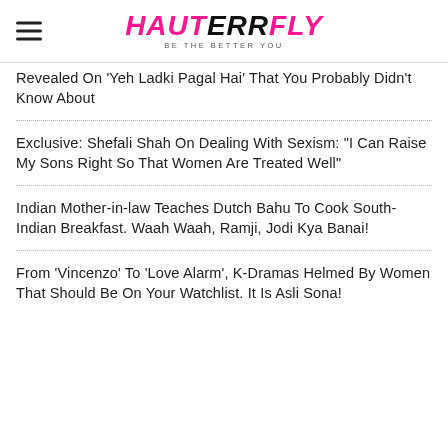HAUTERRFLY - BE THE BETTER YOU
Revealed On 'Yeh Ladki Pagal Hai' That You Probably Didn't Know About
Exclusive: Shefali Shah On Dealing With Sexism: "I Can Raise My Sons Right So That Women Are Treated Well"
Indian Mother-in-law Teaches Dutch Bahu To Cook South-Indian Breakfast. Waah Waah, Ramji, Jodi Kya Banai!
From 'Vincenzo' To 'Love Alarm', K-Dramas Helmed By Women That Should Be On Your Watchlist. It Is Asli Sona!